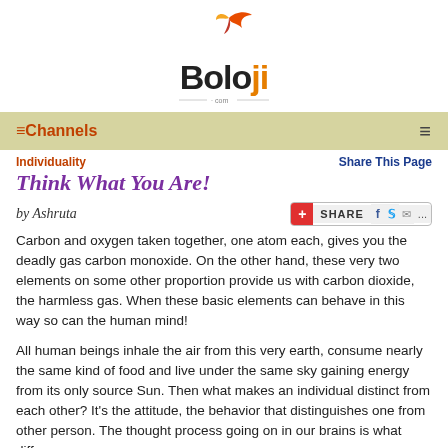[Figure (logo): Boloji.com logo with orange bird/flame graphic above the text 'Boloji' with '.com' underline]
≡Channels    ≡
Individuality    Share This Page
Think What You Are!
by Ashruta
Carbon and oxygen taken together, one atom each, gives you the deadly gas carbon monoxide. On the other hand, these very two elements on some other proportion provide us with carbon dioxide, the harmless gas. When these basic elements can behave in this way so can the human mind!
All human beings inhale the air from this very earth, consume nearly the same kind of food and live under the same sky gaining energy from its only source Sun. Then what makes an individual distinct from each other? It's the attitude, the behavior that distinguishes one from other person. The thought process going on in our brains is what differs.